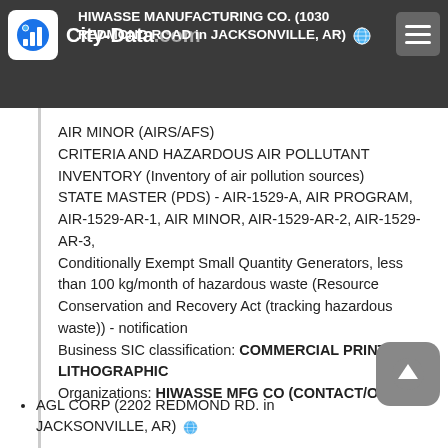HIWASSE MANUFACTURING CO. (1030 REDMOND ROAD in JACKSONVILLE, AR)
AIR MINOR (AIRS/AFS) CRITERIA AND HAZARDOUS AIR POLLUTANT INVENTORY (Inventory of air pollution sources) STATE MASTER (PDS) - AIR-1529-A, AIR PROGRAM, AIR-1529-AR-1, AIR MINOR, AIR-1529-AR-2, AIR-1529-AR-3, Conditionally Exempt Small Quantity Generators, less than 100 kg/month of hazardous waste (Resource Conservation and Recovery Act (tracking hazardous waste)) - notification Business SIC classification: COMMERCIAL PRINTING, LITHOGRAPHIC Organizations: HIWASSE MFG CO (CONTACT/OWNER)
AGL CORP (2202 REDMOND RD. in JACKSONVILLE, AR)